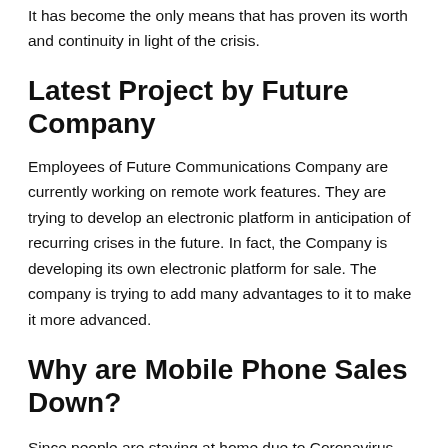It has become the only means that has proven its worth and continuity in light of the crisis.
Latest Project by Future Company
Employees of Future Communications Company are currently working on remote work features. They are trying to develop an electronic platform in anticipation of recurring crises in the future. In fact, the Company is developing its own electronic platform for sale. The company is trying to add many advantages to it to make it more advanced.
Why are Mobile Phone Sales Down?
Since people are staying at home due to Coronavirus, therefore, buying a new mobile phone is not a preference of